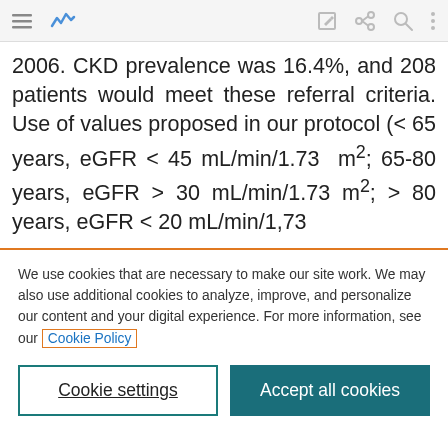[toolbar with menu, analytics, edit, share, search, more icons]
2006. CKD prevalence was 16.4%, and 208 patients would meet these referral criteria. Use of values proposed in our protocol (< 65 years, eGFR < 45 mL/min/1.73 m²; 65-80 years, eGFR > 30 mL/min/1.73 m²; > 80 years, eGFR < 20 mL/min/1,73
We use cookies that are necessary to make our site work. We may also use additional cookies to analyze, improve, and personalize our content and your digital experience. For more information, see our Cookie Policy
Cookie settings
Accept all cookies